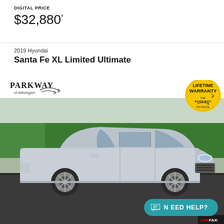DIGITAL PRICE
$32,880*
2019 Hyundai
Santa Fe XL Limited Ultimate
[Figure (photo): A silver 2019 Hyundai Santa Fe XL Limited Ultimate SUV parked in a lot with trees in the background. Dealer overlay shows Parkway of Wilmington logo and Lifetime Warranty badge. A teal 'Need Help?' chat button appears in the lower right corner.]